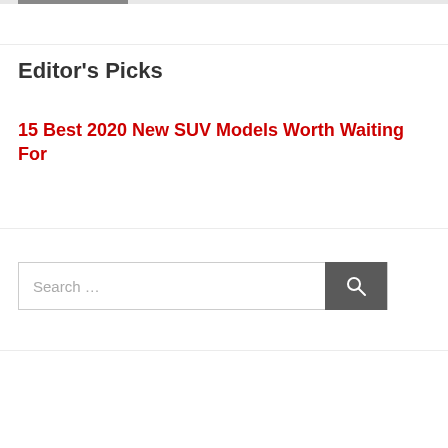Editor's Picks
15 Best 2020 New SUV Models Worth Waiting For
Search …